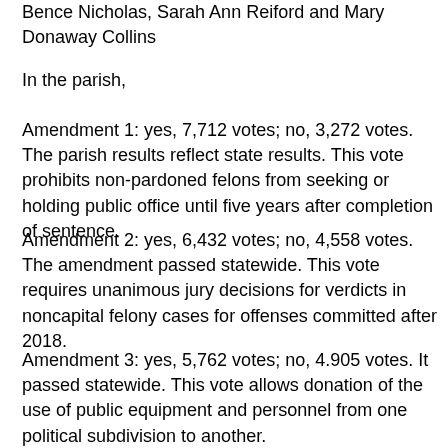Bence Nicholas, Sarah Ann Reiford and Mary Donaway Collins
In the parish,
Amendment 1: yes, 7,712 votes; no, 3,272 votes. The parish results reflect state results. This vote prohibits non-pardoned felons from seeking or holding public office until five years after completion of sentence.
Amendment 2: yes, 6,432 votes; no, 4,558 votes. The amendment passed statewide. This vote requires unanimous jury decisions for verdicts in noncapital felony cases for offenses committed after 2018.
Amendment 3: yes, 5,762 votes; no, 4.905 votes. It passed statewide. This vote allows donation of the use of public equipment and personnel from one political subdivision to another.